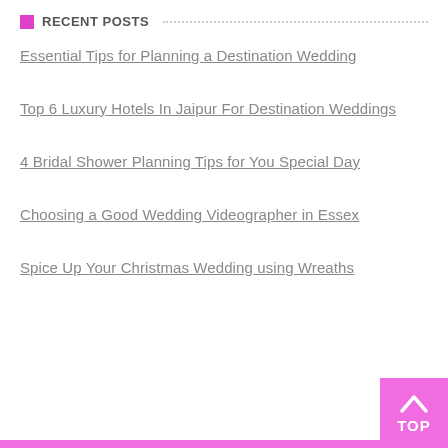RECENT POSTS
Essential Tips for Planning a Destination Wedding
Top 6 Luxury Hotels In Jaipur For Destination Weddings
4 Bridal Shower Planning Tips for You Special Day
Choosing a Good Wedding Videographer in Essex
Spice Up Your Christmas Wedding using Wreaths